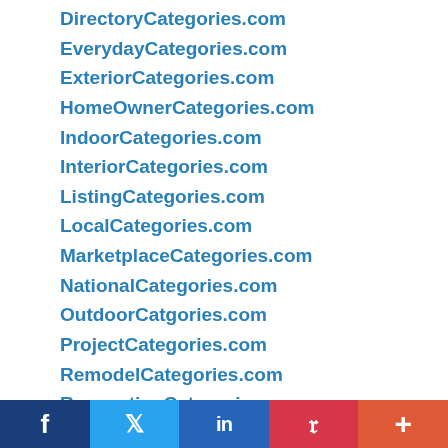DirectoryCategories.com
EverydayCategories.com
ExteriorCategories.com
HomeOwnerCategories.com
IndoorCategories.com
InteriorCategories.com
ListingCategories.com
LocalCategories.com
MarketplaceCategories.com
NationalCategories.com
OutdoorCatgories.com
ProjectCategories.com
RemodelCategories.com
RenovationCategories.com
RepairCategories.com
ServiceCategories.com
StateCategories.com
USACategories.com
f  Twitter  in  P  +